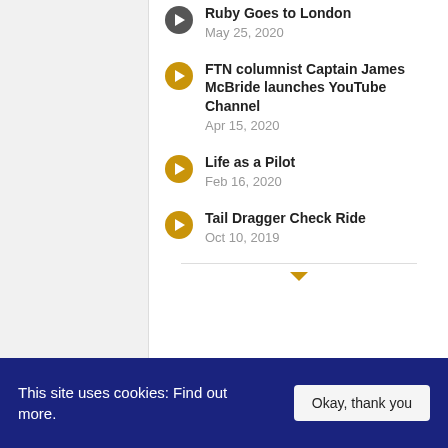Ruby Goes to London
May 25, 2020
FTN columnist Captain James McBride launches YouTube Channel
Apr 15, 2020
Life as a Pilot
Feb 16, 2020
Tail Dragger Check Ride
Oct 10, 2019
Newsletter Sign up
This site uses cookies: Find out more.